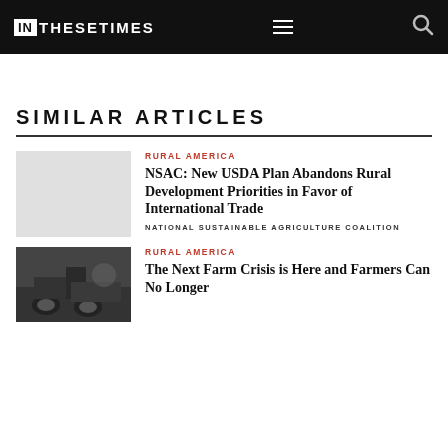IN THESE TIMES
SIMILAR ARTICLES
RURAL AMERICA
NSAC: New USDA Plan Abandons Rural Development Priorities in Favor of International Trade
NATIONAL SUSTAINABLE AGRICULTURE COALITION
RURAL AMERICA
The Next Farm Crisis is Here and Farmers Can No Longer